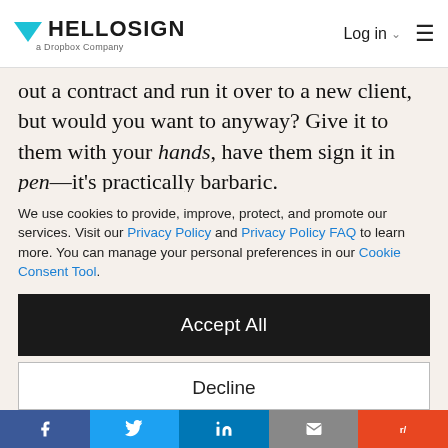HelloSign – a Dropbox Company | Log in | menu
out a contract and run it over to a new client, but would you want to anyway? Give it to them with your hands, have them sign it in pen—it's practically barbaric.
HelloSign is your ready-made alternative to this archaic contract practice. With a sleek user
We use cookies to provide, improve, protect, and promote our services. Visit our Privacy Policy and Privacy Policy FAQ to learn more. You can manage your personal preferences in our Cookie Consent Tool.
Accept All
Decline